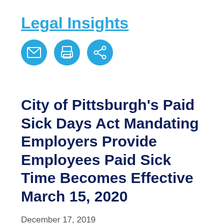Legal Insights
[Figure (illustration): Three blue circular icon buttons: email/envelope icon, printer icon, and share/network icon]
City of Pittsburgh's Paid Sick Days Act Mandating Employers Provide Employees Paid Sick Time Becomes Effective March 15, 2020
December 17, 2019